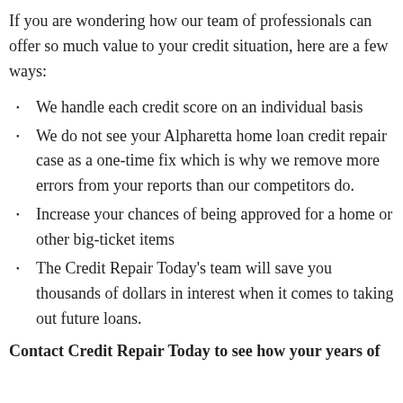If you are wondering how our team of professionals can offer so much value to your credit situation, here are a few ways:
We handle each credit score on an individual basis
We do not see your Alpharetta home loan credit repair case as a one-time fix which is why we remove more errors from your reports than our competitors do.
Increase your chances of being approved for a home or other big-ticket items
The Credit Repair Today's team will save you thousands of dollars in interest when it comes to taking out future loans.
Contact Credit Repair Today to see how your years of